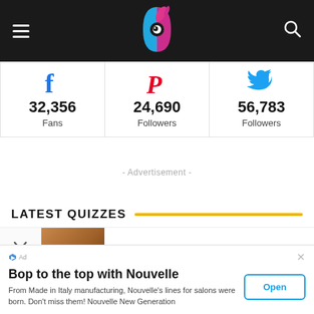Navigation header with logo, hamburger menu, and search icon
| Facebook | Pinterest | Twitter |
| --- | --- | --- |
| 32,356 Fans | 24,690 Followers | 56,783 Followers |
- Advertisement -
LATEST QUIZZES
[Figure (photo): Partial thumbnail of a quiz image showing hair/brown color]
Bop to the top with Nouvelle
From Made in Italy manufacturing, Nouvelle's lines for salons were born. Don't miss them! Nouvelle New Generation